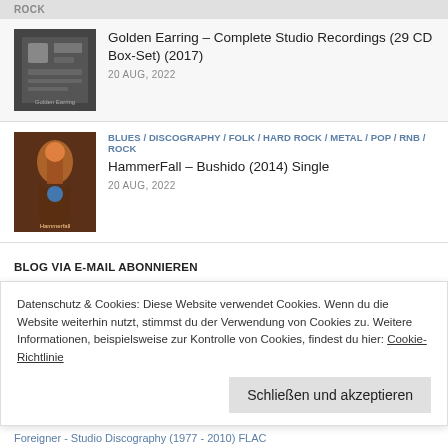ROCK
[Figure (photo): Album cover for Golden Earring Complete Studio Recordings box set]
Golden Earring – Complete Studio Recordings (29 CD Box-Set) (2017)
20 AUG, 2022
BLUES / DISCOGRAPHY / FOLK / HARD ROCK / METAL / POP / RNB / ROCK
[Figure (photo): HammerFall Bushido album cover with warrior figure]
HammerFall – Bushido (2014) Single
20 AUG, 2022
BLOG VIA E-MAIL ABONNIEREN
Gib deine E-Mail-Adresse an, um diesen Blog zu abonnieren und Benachrichtigungen über neue Beiträge via E-Mail zu erhalten.
E-Mail-Adresse
Datenschutz & Cookies: Diese Website verwendet Cookies. Wenn du die Website weiterhin nutzt, stimmst du der Verwendung von Cookies zu. Weitere Informationen, beispielsweise zur Kontrolle von Cookies, findest du hier: Cookie-Richtlinie
Schließen und akzeptieren
Foreigner - Studio Discography (1977 - 2010) FLAC